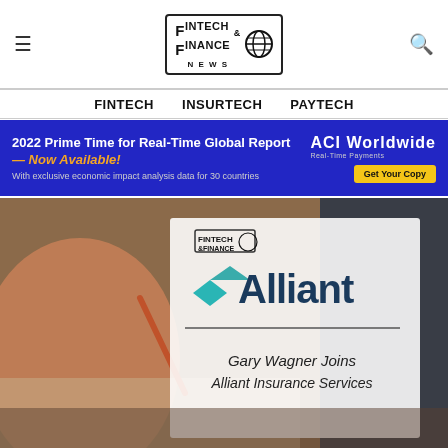[Figure (logo): Fintech & Finance News logo with globe icon in a bordered box]
FINTECH   INSURTECH   PAYTECH
[Figure (infographic): ACI Worldwide advertisement banner: '2022 Prime Time for Real-Time Global Report — Now Available! With exclusive economic impact analysis data for 30 countries. Get Your Copy.']
[Figure (photo): Article hero image showing the Alliant logo with text 'Gary Wagner Joins Alliant Insurance Services' overlaid on a background photo of a person writing at a desk with a pen.]